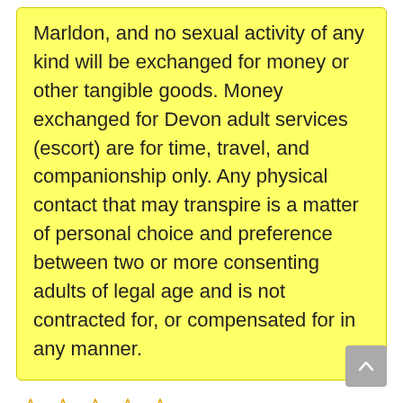Marldon, and no sexual activity of any kind will be exchanged for money or other tangible goods. Money exchanged for Devon adult services (escort) are for time, travel, and companionship only. Any physical contact that may transpire is a matter of personal choice and preference between two or more consenting adults of legal age and is not contracted for, or compensated for in any manner.
0/5 (0 Reviews)
Devon, England, TQ3 1
Foxfield